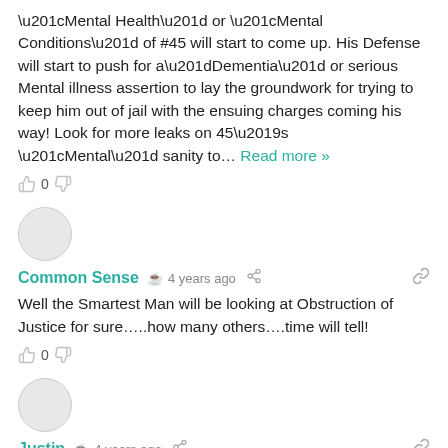“Mental Health” or “Mental Conditions” of #45 will start to come up. His Defense will start to push for a”Dementia” or serious Mental illness assertion to lay the groundwork for trying to keep him out of jail with the ensuing charges coming his way! Look for more leaks on 45’s “Mental” sanity to… Read more »
0
Common Sense  ©  4 years ago
Well the Smartest Man will be looking at Obstruction of Justice for sure…..how many others….time will tell!
0
Justin  ©  4 years ago
“it is a big deal for someone trying to feed a family on